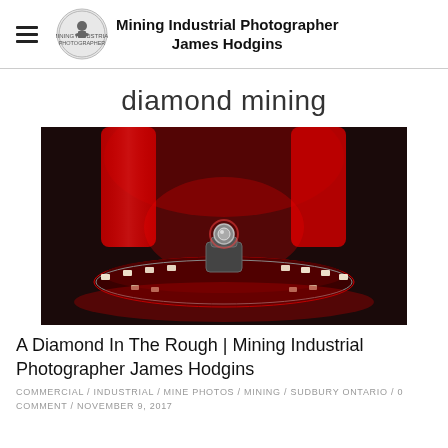Mining Industrial Photographer James Hodgins
diamond mining
[Figure (photo): Close-up photo of a diamond on a red-lit industrial display stand with circular LED lights, shot in dark environment with dramatic red lighting.]
A Diamond In The Rough | Mining Industrial Photographer James Hodgins
COMMERCIAL / INDUSTRIAL / MINE PHOTOS / MINING / SUDBURY ONTARIO / 0 COMMENT / NOVEMBER 9, 2017